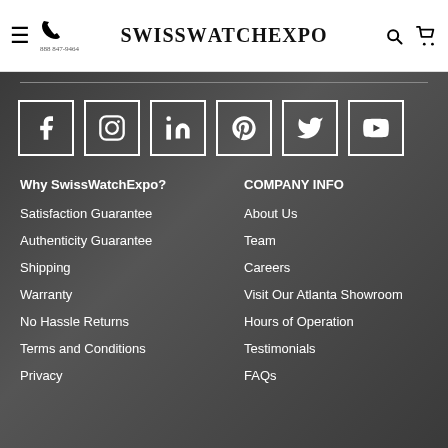SwissWatchExpo
[Figure (screenshot): Social media icons: Facebook, Instagram, LinkedIn, Pinterest, Twitter, YouTube in white bordered boxes on dark background]
Why SwissWatchExpo?
Satisfaction Guarantee
Authenticity Guarantee
Shipping
Warranty
No Hassle Returns
Terms and Conditions
Privacy
COMPANY INFO
About Us
Team
Careers
Visit Our Atlanta Showroom
Hours of Operation
Testimonials
FAQs